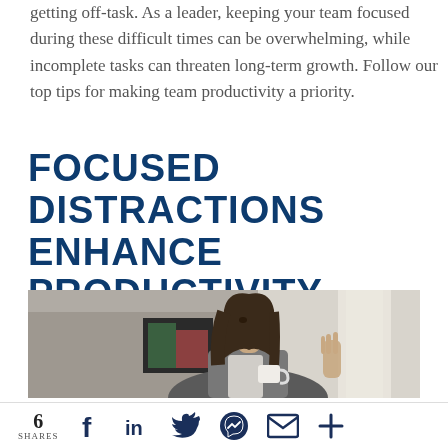getting off-task. As a leader, keeping your team focused during these difficult times can be overwhelming, while incomplete tasks can threaten long-term growth. Follow our top tips for making team productivity a priority.
Focused Distractions Enhance Productivity
[Figure (photo): A young woman with long dark hair holding a coffee mug, looking out a window thoughtfully, in a moody indoor setting.]
6 SHARES [Facebook] [LinkedIn] [Twitter] [Messenger] [Email] [+]